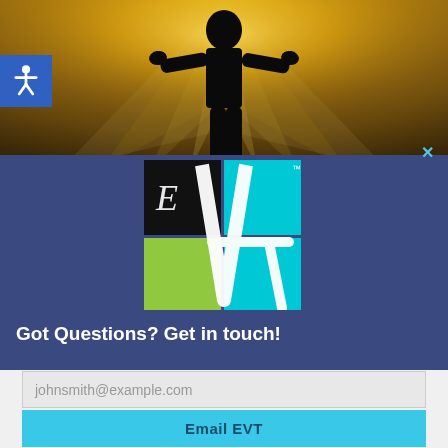[Figure (photo): Hero image with golden light radiating from behind a dark human silhouette standing with arms outstretched, on a textured golden background]
[Figure (logo): EVT logo made of four colored quadrant squares (black top-left with italic E, cyan top-right with TM mark, green bottom-left, cyan bottom-right) with a large white stylized V/T letterform overlaid across all four quadrants]
Got Questions? Get in touch!
johnsmith@example.com
Email EVT